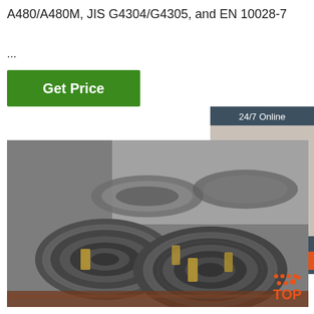A480/A480M, JIS G4304/G4305, and EN 10028-7
...
Get Price
[Figure (infographic): 24/7 Online chat widget with photo of smiling woman wearing headset, and QUOTATION button]
[Figure (photo): Large coils of steel wire rods bundled with strapping in an industrial warehouse setting]
TOP